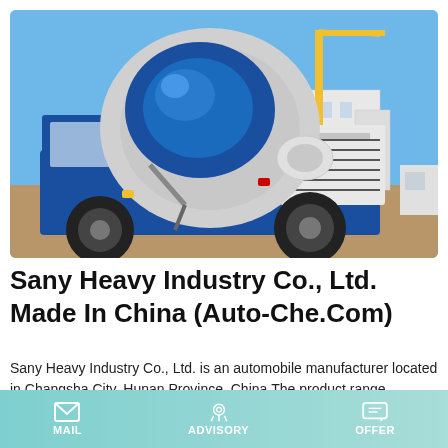[Figure (photo): A blue and white Sany concrete mixer truck (self-loading type) at a construction site. The truck has a large rotating drum with blue and grey/white colors, large black tires, and is on a dirt/sandy ground. A yellow crane is visible in the background, along with white buildings and blue sky.]
Sany Heavy Industry Co., Ltd. Made In China (Auto-Che.Com)
Sany Heavy Industry Co., Ltd. is an automobile manufacturer located in Changsha City, Hunan Province, China.The product range includes concrete pump truck, concrete mixer truck,
MAIL   ADVISORY   OFFER